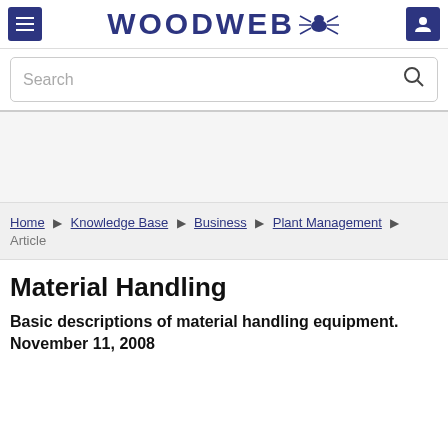WOODWEB
Search
Home > Knowledge Base > Business > Plant Management > Article
Material Handling
Basic descriptions of material handling equipment. November 11, 2008